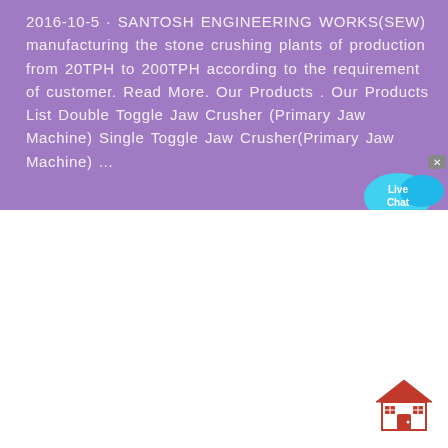2016-10-5 · SANTOSH ENGINEERING WORKS(SEW) manufacturing the stone crushing plants of production from 20TPH to 200TPH according to the requirement of customer. Read More. Our Products . Our Products List Double Toggle Jaw Crusher (Primary Jaw Machine) Single Toggle Jaw Crusher(Primary Jaw Machine) ...
[Figure (other): Live Chat widget bubble in cyan/blue color with 'Live Chat' text, and a close button (x)]
[Figure (illustration): House/home icon in red/maroon color, shown at bottom-right of the page]